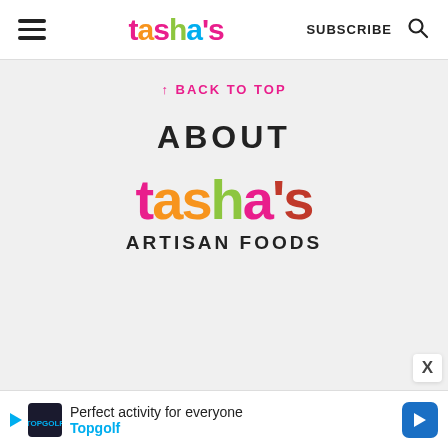tasha's | SUBSCRIBE
↑ BACK TO TOP
ABOUT
[Figure (logo): Tasha's Artisan Foods logo — colorful playful font spelling 'tasha's' with ARTISAN FOODS below in bold black uppercase]
Perfect activity for everyone  Topgolf